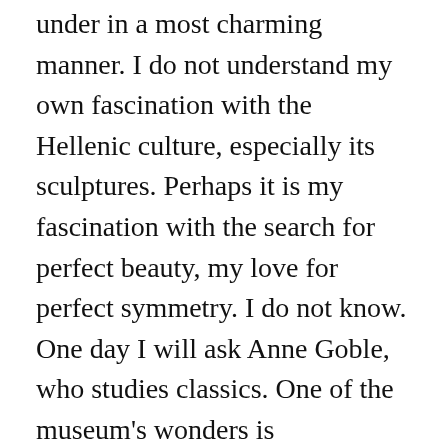under in a most charming manner. I do not understand my own fascination with the Hellenic culture, especially its sculptures. Perhaps it is my fascination with the search for perfect beauty, my love for perfect symmetry. I do not know. One day I will ask Anne Goble, who studies classics. One of the museum's wonders is Alexander's sarcophagus, which is preserved perfectly. Also, I am fascinated with an exposed mummy, with dried up organs on full display. I can identify the major organs as well . The museum is next to Topkapi Palace, on a terrace overlooking it. There is a café overlooking the Topkapi park where we take some tea. The most perfect moment when at 5:15 the call for a prayer is heard from many